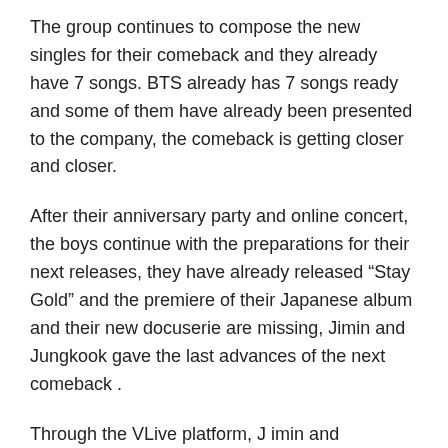The group continues to compose the new singles for their comeback and they already have 7 songs. BTS already has 7 songs ready and some of them have already been presented to the company, the comeback is getting closer and closer.
After their anniversary party and online concert, the boys continue with the preparations for their next releases, they have already released “Stay Gold” and the premiere of their Japanese album and their new docuserie are missing, Jimin and Jungkook gave the last advances of the next comeback .
Through the VLive platform, J imin and Jungkook held a live broadcast where in addition to cooking and interacting with ARMY, the boys shared BTS’s album details , which are expected to be released in October.
As you will remember, Jimin is in charge of gathering each of